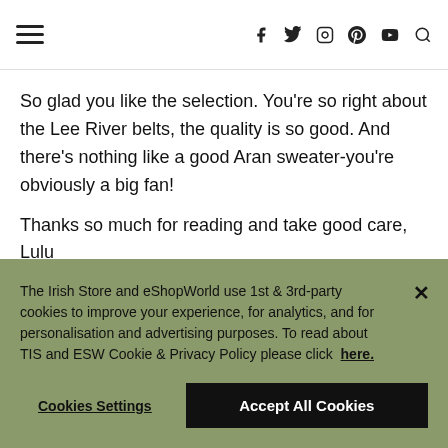≡  f  twitter  instagram  pinterest  youtube  search
So glad you like the selection. You're so right about the Lee River belts, the quality is so good. And there's nothing like a good Aran sweater-you're obviously a big fan!
Thanks so much for reading and take good care,
Lulu
The Irish Store and eShopWorld use 1st & 3rd-party cookies to improve your experience, for analytics, and for personalisation and advertising purposes. To read about TIS and ESW Cookie & Privacy Policy please click here.
Cookies Settings | Accept All Cookies